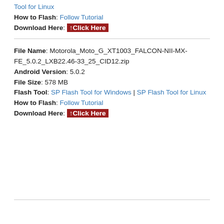Tool for Linux
How to Flash: Follow Tutorial
Download Here: ↑Click Here
File Name: Motorola_Moto_G_XT1003_FALCON-NII-MX-FE_5.0.2_LXB22.46-33_25_CID12.zip
Android Version: 5.0.2
File Size: 578 MB
Flash Tool: SP Flash Tool for Windows | SP Flash Tool for Linux
How to Flash: Follow Tutorial
Download Here: ↑Click Here